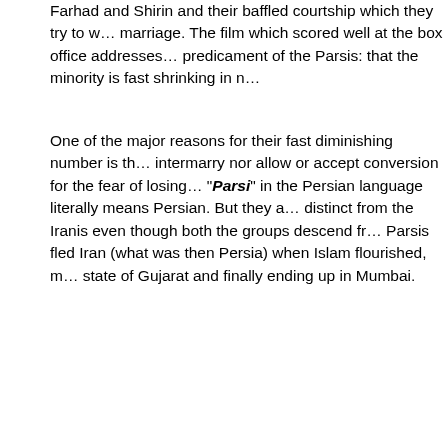Farhad and Shirin and their baffled courtship which they try to w... marriage. The film which scored well at the box office addresses... predicament of the Parsis: that the minority is fast shrinking in n...
One of the major reasons for their fast diminishing number is th... intermarry nor allow or accept conversion for the fear of losing ... "Parsi" in the Persian language literally means Persian. But they a... distinct from the Iranis even though both the groups descend fr... Parsis fled Iran (what was then Persia) when Islam flourished, m... state of Gujarat and finally ending up in Mumbai.